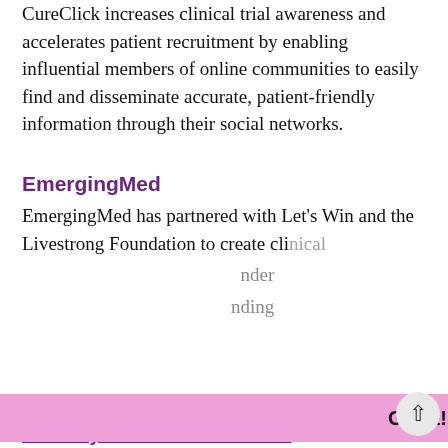CureClick increases clinical trial awareness and accelerates patient recruitment by enabling influential members of online communities to easily find and disseminate accurate, patient-friendly information through their social networks.
EmergingMed
EmergingMed has partnered with Let's Win and the Livestrong Foundation to create clinical trial finder under [partially visible, obscured by overlay] including
[Figure (screenshot): Cookie consent overlay banner with purple background, text: 'This website uses cookies to ensure you get the best experience on our website.' and a 'Learn more' underlined link, and a pink 'Got it!' button bar below.]
Gateway for Cancer Research